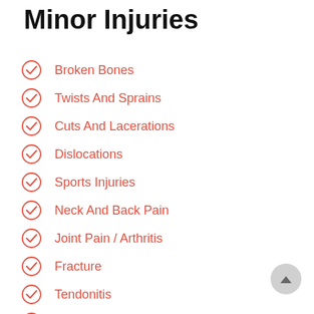Minor Injuries
Broken Bones
Twists And Sprains
Cuts And Lacerations
Dislocations
Sports Injuries
Neck And Back Pain
Joint Pain / Arthritis
Fracture
Tendonitis
Auto Accidents
Fall Injuries